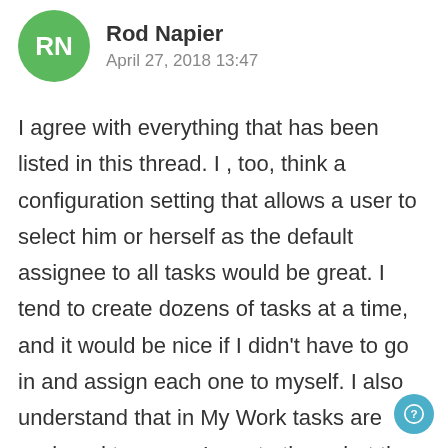Rod Napier
April 27, 2018 13:47
I agree with everything that has been listed in this thread. I , too, think a configuration setting that allows a user to select him or herself as the default assignee to all tasks would be great. I tend to create dozens of tasks at a time, and it would be nice if I didn't have to go in and assign each one to myself. I also understand that in My Work tasks are assigned to me as I create them, but the problem is that you have to go in and individually assign each task to a project, which is the same amount of work as